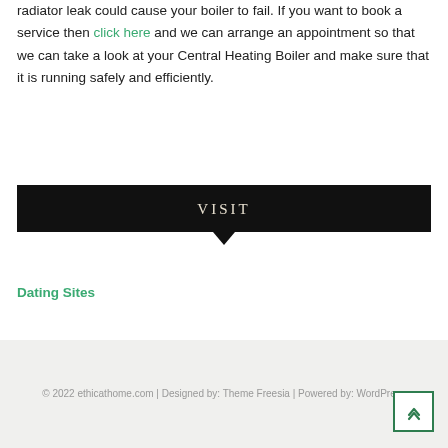radiator leak could cause your boiler to fail. If you want to book a service then click here and we can arrange an appointment so that we can take a look at your Central Heating Boiler and make sure that it is running safely and efficiently.
[Figure (other): Black button/banner with the word VISIT in serif uppercase letters, with a downward pointing arrow beneath it.]
Dating Sites
© 2022 ethicathome.com | Designed by: Theme Freesia | Powered by: WordPress